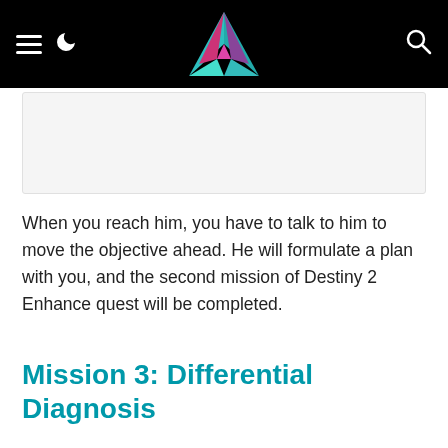[Figure (logo): Website navigation bar with hamburger menu icon, moon/dark-mode icon, colorful geometric logo (triangular/diamond shape with teal, pink, purple colors) in center, and search icon on right, all on black background.]
[Figure (other): White/light gray image placeholder rectangle]
When you reach him, you have to talk to him to move the objective ahead. He will formulate a plan with you, and the second mission of Destiny 2 Enhance quest will be completed.
Mission 3: Differential Diagnosis